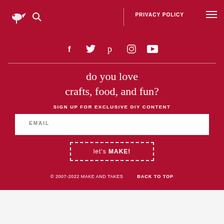PRIVACY POLICY
[Figure (infographic): Social media icons row: Facebook, Twitter, Pinterest, Instagram, YouTube]
do you love crafts, food, and fun?
SIGN UP FOR EXCLUSIVE DIY CONTENT
EMAIL
let's MAKE!
© 2007-2022 MAKE AND TAKES    BACK TO TOP
AN ELITE CAFEMEDIA FOOD PUBLISHER
In-store shopping  In-store pickup  Delivery